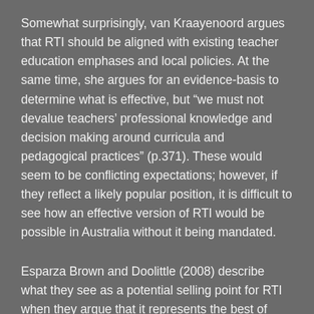Somewhat surprisingly, van Kraayenoord argues that RTI should be aligned with existing teacher education emphases and local policies. At the same time, she argues for an evidence-basis to determine what is effective, but “we must not devalue teachers’ professional knowledge and decision making around curricula and pedagogical practices” (p.371). These would seem to be conflicting expectations; however, if they reflect a likely popular position, it is difficult to see how an effective version of RTI would be possible in Australia without it being mandated.
Esparza Brown and Doolittle (2008) describe what they see as a potential selling point for RTI when they argue that it represents the best of personalised instruction, as each child’s needs are assessed in order to provide instruction appropriate to their needs. However, personalised instruction can have a rather different and incompatible meaning as a recent educationally valued concept related